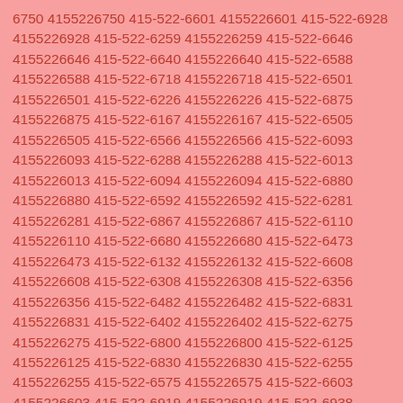6750 4155226750 415-522-6601 4155226601 415-522-6928 4155226928 415-522-6259 4155226259 415-522-6646 4155226646 415-522-6640 4155226640 415-522-6588 4155226588 415-522-6718 4155226718 415-522-6501 4155226501 415-522-6226 4155226226 415-522-6875 4155226875 415-522-6167 4155226167 415-522-6505 4155226505 415-522-6566 4155226566 415-522-6093 4155226093 415-522-6288 4155226288 415-522-6013 4155226013 415-522-6094 4155226094 415-522-6880 4155226880 415-522-6592 4155226592 415-522-6281 4155226281 415-522-6867 4155226867 415-522-6110 4155226110 415-522-6680 4155226680 415-522-6473 4155226473 415-522-6132 4155226132 415-522-6608 4155226608 415-522-6308 4155226308 415-522-6356 4155226356 415-522-6482 4155226482 415-522-6831 4155226831 415-522-6402 4155226402 415-522-6275 4155226275 415-522-6800 4155226800 415-522-6125 4155226125 415-522-6830 4155226830 415-522-6255 4155226255 415-522-6575 4155226575 415-522-6603 4155226603 415-522-6919 4155226919 415-522-6938 4155226938 415-522-6212 4155226212 415-522-6783 4155226783 415-522-6471 4155226471 415-522-6796 4155226796 415-522-6055 4155226055 415-522-6297 4155226297 415-522-6535 4155226535 415-522-6108 4155226108 415-522-6403 4155226403 415-522-6739 4155226739 415-522-6178 4155226178 415-522-6037 4155226037 415-522-6685 4155226685 415-522-6657 4155226657 415-522-6958 4155226958 415-522-6048 4155226048 415-522-6424 4155226424 415-522-6298 4155226298 415-522-6398 4155226398 415-522-6182 4155226182